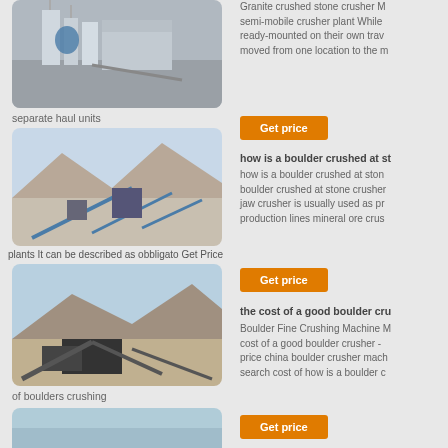[Figure (photo): Industrial crusher/mill plant with silos and dust collection systems]
Granite crushed stone crusher M semi-mobile crusher plant While ready-mounted on their own trav moved from one location to the m
separate haul units
[Figure (photo): Open quarry with conveyor belt and crushing plant in mountainous area]
Get price
how is a boulder crushed at st
how is a boulder crushed at ston boulder crushed at stone crusher jaw crusher is usually used as pr production lines mineral ore crus
plants It can be described as obbligato Get Price
[Figure (photo): Large outdoor crushing plant with conveyors and machinery in arid landscape]
Get price
the cost of a good boulder cru
Boulder Fine Crushing Machine M cost of a good boulder crusher - price china boulder crusher mach search cost of how is a boulder c
of boulders crushing
[Figure (photo): Crushing plant partial view]
Get price